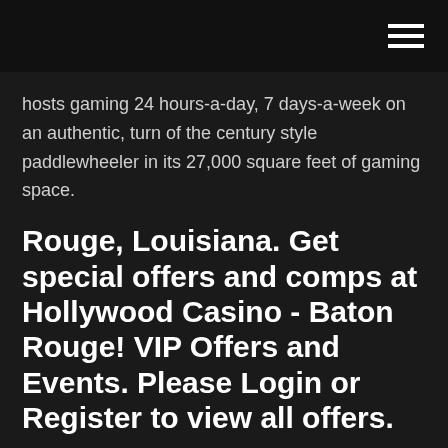hosts gaming 24 hours-a-day, 7 days-a-week on an authentic, turn of the century style paddlewheeler in its 27,000 square feet of gaming space.
Rouge, Louisiana. Get special offers and comps at Hollywood Casino - Baton Rouge! VIP Offers and Events. Please Login or Register to view all offers.
Hollywood Casino Baton Rouge: Hours, Address, Hollywood Casino Baton Rouge Reviews: 3/5 In 2020, Hollywood Casino, Belle of Baton Rouge Casino & Hotel and L'Auberge Casino & Hotel all announced or unveiled renovations to